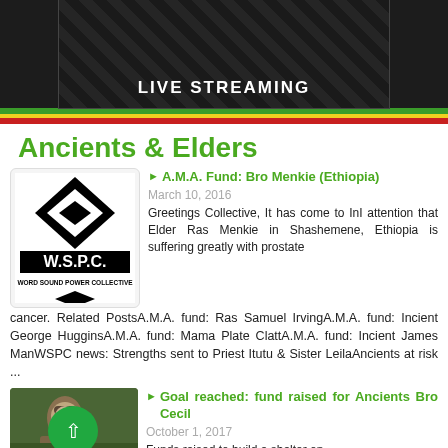[Figure (screenshot): Dark banner with 'LIVE STREAMING' text overlay, appears to be a video streaming thumbnail]
[Figure (illustration): Decorative color bars in green, yellow, red (Rastafarian/Ethiopian flag colors)]
Ancients & Elders
[Figure (logo): W.S.P.C. Word Sound Power Collective black diamond logo on white background]
A.M.A. Fund: Bro Menkie (Ethiopia)
March 10, 2016
Greetings Collective, It has come to InI attention that Elder Ras Menkie in Shashemene, Ethiopia is suffering greatly with prostate cancer. Related PostsA.M.A. fund: Ras Samuel IrvingA.M.A. fund: Incient George HugginsA.M.A. fund: Mama Plate ClattA.M.A. fund: Incient James ManWSPC news: Strengths sent to Priest Itutu & Sister LeilaAncients at risk ...
[Figure (photo): Photo of an elderly person outdoors with greenery in the background]
Goal reached: fund raised for Ancients Bro Cecil
October 1, 2017
Funds raised to build a shelter on